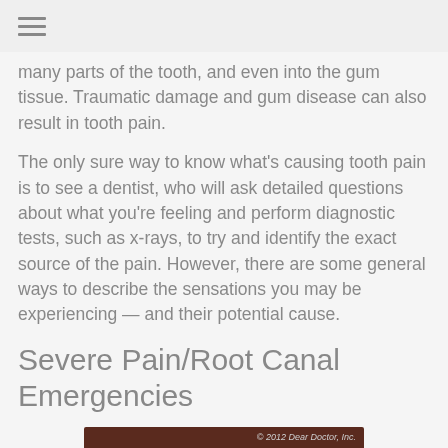≡
many parts of the tooth, and even into the gum tissue. Traumatic damage and gum disease can also result in tooth pain.
The only sure way to know what's causing tooth pain is to see a dentist, who will ask detailed questions about what you're feeling and perform diagnostic tests, such as x-rays, to try and identify the exact source of the pain. However, there are some general ways to describe the sensations you may be experiencing — and their potential cause.
Severe Pain/Root Canal Emergencies
[Figure (photo): Cross-sectional anatomical illustration of a tooth showing root canal, with copyright notice '© 2012 Dear Doctor, Inc.' on dark brown background]